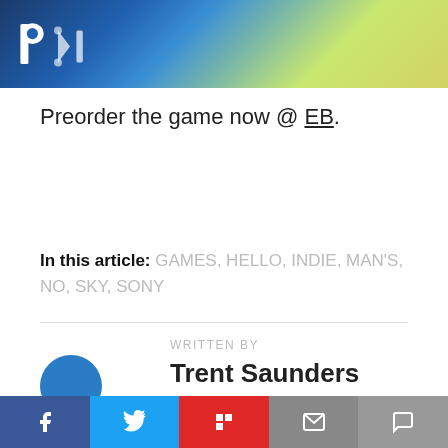[Figure (screenshot): PlayStation banner image with PlayStation logo on left, blue gradient and sandy/yellowish background on right]
Preorder the game now @ EB.
In this article: GAMES, HELLO, INDIE, MAN'S, NO, SKY, SONY
WRITTEN BY
Trent Saunders
Although he has been gaming
[Figure (screenshot): Social share bar with Facebook, Twitter, Flipboard, Email, and Comment buttons]